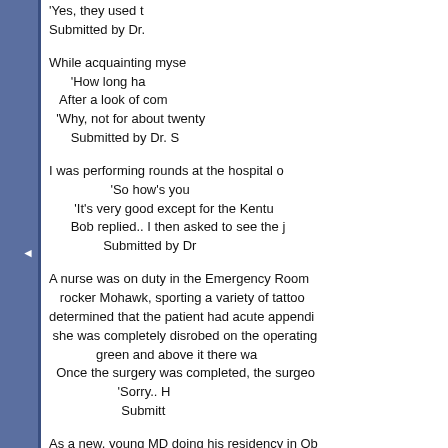'Yes, they used t
Submitted by Dr.
While acquainting myse
'How long ha
After a look of com
'Why, not for about twenty
Submitted by Dr. S
I was performing rounds at the hospital o
'So how's you
'It's very good except for the Kentu
Bob replied.. I then asked to see the j
Submitted by Dr
A nurse was on duty in the Emergency Room
rocker Mohawk, sporting a variety of tattoo
determined that the patient had acute appendi
she was completely disrobed on the operating
green and above it there wa
Once the surgery was completed, the surgeo
'Sorry.. H
Submitt
As a new, young MD doing his residency in Ob
exams... To cover my embarrassment I
The middle-aged lady upon whom I was perf
embarrassed me. I looked
'I'm sorry
She replied with tears running
'No doctor but the song you were whi
Dr. did